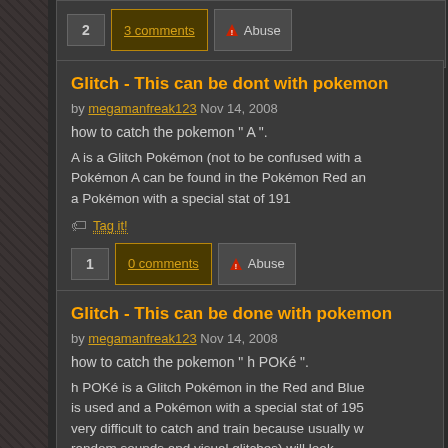2  3 comments  Abuse
Glitch - This can be dont with pokemon
by megamanfreak123 Nov 14, 2008
how to catch the pokemon " A ".
A is a Glitch Pokémon (not to be confused with a... Pokémon A can be found in the Pokémon Red an... a Pokémon with a special stat of 191
Tag it!
1  0 comments  Abuse
Glitch - This can be done with pokemon
by megamanfreak123 Nov 14, 2008
how to catch the pokemon " h POKé ".
h POKé is a Glitch Pokémon in the Red and Blue... is used and a Pokémon with a special stat of 195... very difficult to catch and train because usually w... random sounds and visual glitches) will look...